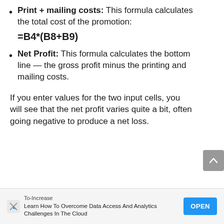Print + mailing costs: This formula calculates the total cost of the promotion: =B4*(B8+B9)
Net Profit: This formula calculates the bottom line — the gross profit minus the printing and mailing costs.
If you enter values for the two input cells, you will see that the net profit varies quite a bit, often going negative to produce a net loss.